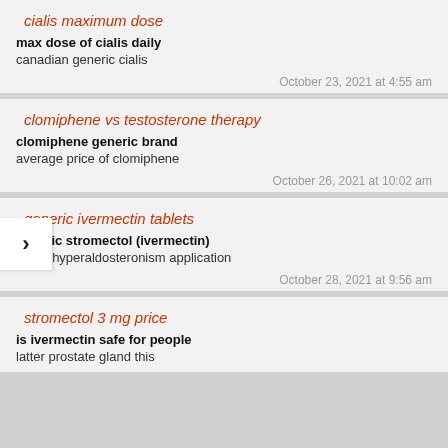cialis maximum dose
max dose of cialis daily
canadian generic cialis
October 23, 2021 at 4:55 am
clomiphene vs testosterone therapy
clomiphene generic brand
average price of clomiphene
October 26, 2021 at 10:02 am
generic ivermectin tablets
generic stromectol (ivermectin)
finger hyperaldosteronism application
October 28, 2021 at 9:56 am
stromectol 3 mg price
is ivermectin safe for people
latter prostate gland this